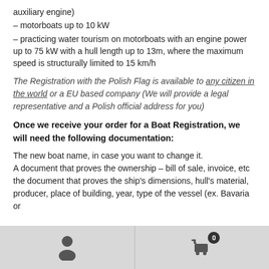auxiliary engine)
– motorboats up to 10 kW
– practicing water tourism on motorboats with an engine power up to 75 kW with a hull length up to 13m, where the maximum speed is structurally limited to 15 km/h
The Registration with the Polish Flag is available to any citizen in the world or a EU based company (We will provide a legal representative and a Polish official address for you)
Once we receive your order for a Boat Registration, we will need the following documentation:
The new boat name, in case you want to change it.
A document that proves the ownership – bill of sale, invoice, etc
the document that proves the ship's dimensions, hull's material, producer, place of building, year, type of the vessel (ex. Bavaria or
0